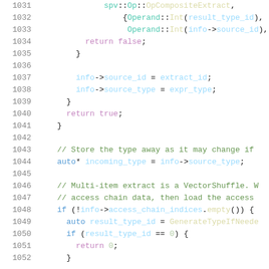Source code listing, lines 1031-1052, showing C++ SPIR-V code generation logic with OpCompositeExtract, source_id, source_type assignments, return statements, and conditional access chain handling.